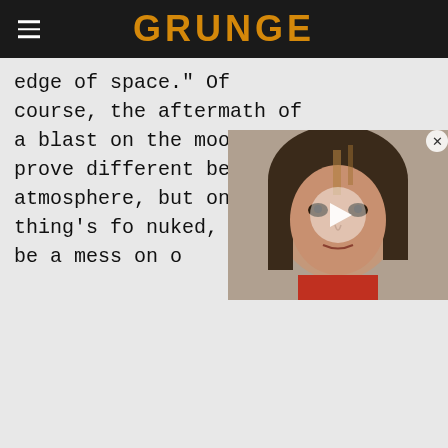GRUNGE
edge of space." Of course, the aftermath of a blast on the moon would prove different be atmosphere, but one thing's fo nuked, there'd be a mess on o
[Figure (screenshot): Video overlay thumbnail showing a woman with dark hair and a red collar; a play button is displayed in the center. A close (X) button appears in the top-right corner.]